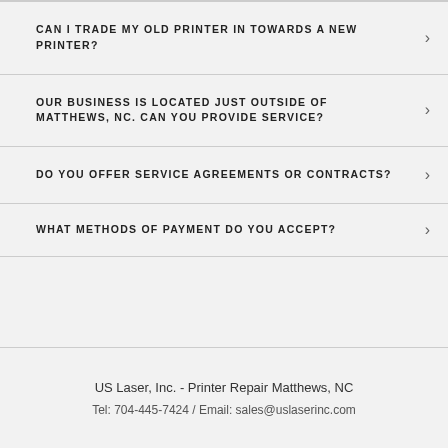CAN I TRADE MY OLD PRINTER IN TOWARDS A NEW PRINTER?
OUR BUSINESS IS LOCATED JUST OUTSIDE OF MATTHEWS, NC. CAN YOU PROVIDE SERVICE?
DO YOU OFFER SERVICE AGREEMENTS OR CONTRACTS?
WHAT METHODS OF PAYMENT DO YOU ACCEPT?
US Laser, Inc. - Printer Repair Matthews, NC
Tel: 704-445-7424 / Email: sales@uslaserinc.com